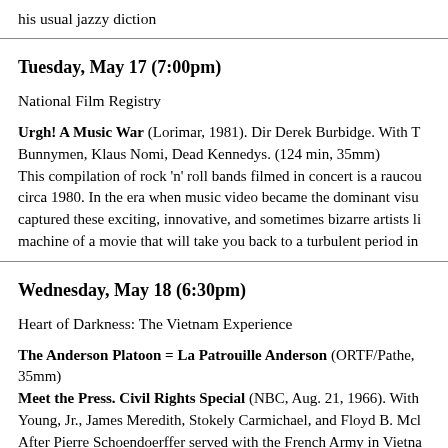his usual jazzy diction
Tuesday, May 17 (7:00pm)
National Film Registry
Urgh! A Music War (Lorimar, 1981). Dir Derek Burbidge. With T Bunnymen, Klaus Nomi, Dead Kennedys. (124 min, 35mm) This compilation of rock 'n' roll bands filmed in concert is a raucou circa 1980. In the era when music video became the dominant visu captured these exciting, innovative, and sometimes bizarre artists li machine of a movie that will take you back to a turbulent period in
Wednesday, May 18 (6:30pm)
Heart of Darkness: The Vietnam Experience
The Anderson Platoon = La Patrouille Anderson (ORTF/Pathe, 35mm) Meet the Press. Civil Rights Special (NBC, Aug. 21, 1966). With Young, Jr., James Meredith, Stokely Carmichael, and Floyd B. Mcl After Pierre Schoendoerffer served with the French Army in Vietna fourth film was a dramatic feature about his service experiences. I